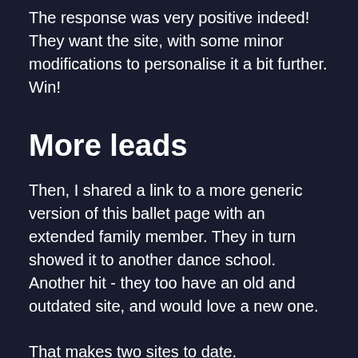The response was very positive indeed! They want the site, with some minor modifications to personalise it a bit further. Win!
More leads
Then, I shared a link to a more generic version of this ballet page with an extended family member. They in turn showed it to another dance school. Another hit - they too have an old and outdated site, and would love a new one.
That makes two sites to date.